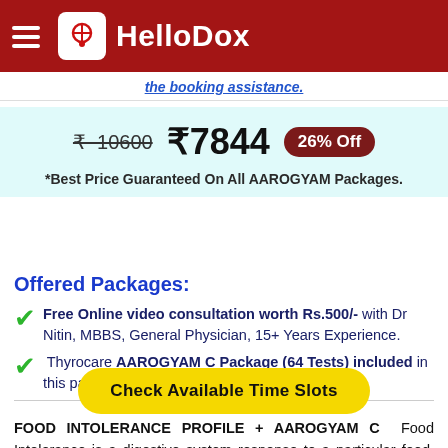HelloDox
the booking assistance.
₹ 10600  ₹7844  26% Off
*Best Price Guaranteed On All AAROGYAM Packages.
Offered Packages:
Free Online video consultation worth Rs.500/- with Dr Nitin, MBBS, General Physician, 15+ Years Experience.
Thyrocare AAROGYAM C Package (64 Tests) included in this package.
Check Available Time Slots
FOOD INTOLERANCE PROFILE + AAROGYAM C  Food Intolerance is a digestive system response to a particular food. This IgG-based panel test using venous blood sample aids in knowing about foods that trigger unusual reactions in